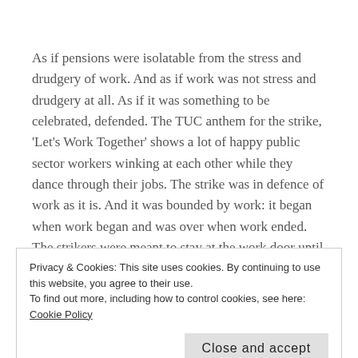As if pensions were isolatable from the stress and drudgery of work. And as if work was not stress and drudgery at all. As if it was something to be celebrated, defended. The TUC anthem for the strike, 'Let's Work Together' shows a lot of happy public sector workers winking at each other while they dance through their jobs. The strike was in defence of work as it is. And it was bounded by work: it began when work began and was over when work ended. The strikers were meant to stay at the work door until the pre-planned marches through city centres. We were not meant to move beyond these
Privacy & Cookies: This site uses cookies. By continuing to use this website, you agree to their use.
To find out more, including how to control cookies, see here: Cookie Policy
increasing rents, prices, repression. The unions try to